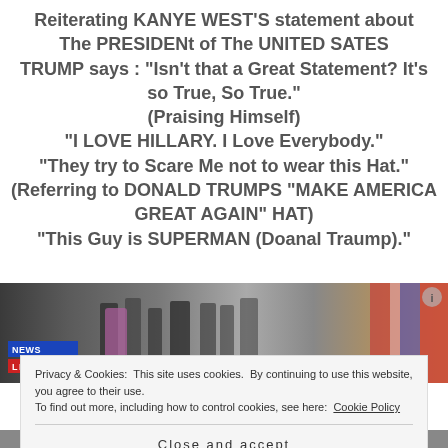Reiterating KANYE WEST'S statement about The PRESIDENt of The UNITED SATES TRUMP says : “Isn’t that a Great Statement? It’s so True, So True.” (Praising Himself) “I LOVE HILLARY. I Love Everybody.” “They try to Scare Me not to wear this Hat.” (Referring to DONALD TRUMPS “MAKE AMERICA GREAT AGAIN” HAT) “This Guy is SUPERMAN (Doanal Traump).”
[Figure (photo): News broadcast photo showing a group of people in what appears to be the White House, with a NEWS LIVE chyron overlay and an American flag visible on the right side.]
Privacy & Cookies: This site uses cookies. By continuing to use this website, you agree to their use.
To find out more, including how to control cookies, see here: Cookie Policy
Close and accept